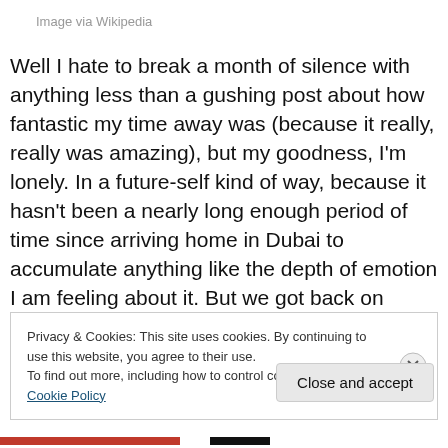Image via Wikipedia
Well I hate to break a month of silence with anything less than a gushing post about how fantastic my time away was (because it really, really was amazing), but my goodness, I'm lonely. In a future-self kind of way, because it hasn't been a nearly long enough period of time since arriving home in Dubai to accumulate anything like the depth of emotion I am feeling about it. But we got back on Thursday, my husband returned to work on Sunday, and
Privacy & Cookies: This site uses cookies. By continuing to use this website, you agree to their use.
To find out more, including how to control cookies, see here: Cookie Policy